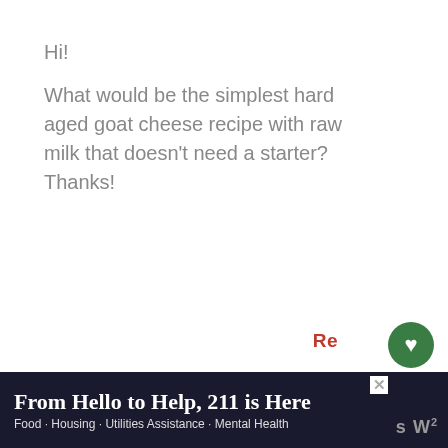Hi!
What would be the simplest hard aged goat cheese recipe with raw milk that doesn't need a starter? Thanks!
Reply
925
LEE
MAY 7, 2022 AT 10:00 PM
[Figure (infographic): WHAT'S NEXT arrow label with thumbnail image and text 'How to Make Goat Cheese']
[Figure (infographic): Advertisement banner: 'From Hello to Help, 211 is Here' with subtext 'Food · Housing · Utilities Assistance · Mental Health']